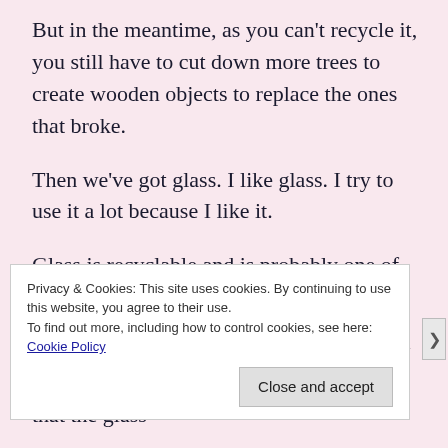But in the meantime, as you can't recycle it, you still have to cut down more trees to create wooden objects to replace the ones that broke.
Then we've got glass. I like glass. I try to use it a lot because I like it.
Glass is recyclable and is probably one of the easiest things to recycle.
I don't actually know the details about how glass containers are reused. But I imagine that the glass
Privacy & Cookies: This site uses cookies. By continuing to use this website, you agree to their use.
To find out more, including how to control cookies, see here: Cookie Policy
Close and accept